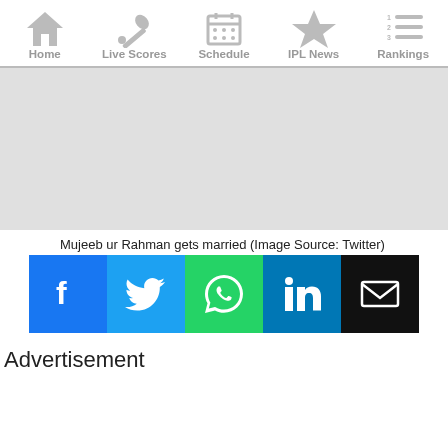Home | Live Scores | Schedule | IPL News | Rankings
[Figure (photo): Gray placeholder image area representing a photo of Mujeeb ur Rahman]
Mujeeb ur Rahman gets married (Image Source: Twitter)
[Figure (infographic): Social share buttons: Facebook, Twitter, WhatsApp, LinkedIn, Email]
Advertisement